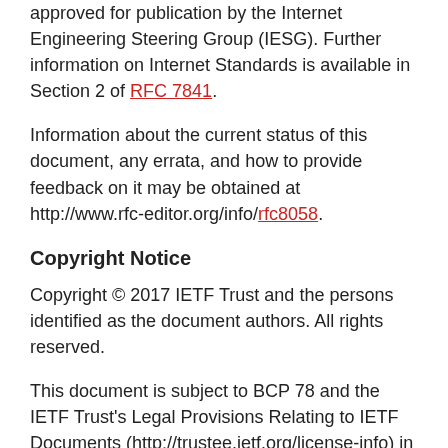approved for publication by the Internet Engineering Steering Group (IESG). Further information on Internet Standards is available in Section 2 of RFC 7841.
Information about the current status of this document, any errata, and how to provide feedback on it may be obtained at http://www.rfc-editor.org/info/rfc8058.
Copyright Notice
Copyright © 2017 IETF Trust and the persons identified as the document authors. All rights reserved.
This document is subject to BCP 78 and the IETF Trust's Legal Provisions Relating to IETF Documents (http://trustee.ietf.org/license-info) in effect on the date of publication of this document. Please review these documents carefully, as they describe your rights and restrictions with respect to this document. Code Components extracted from this document must include Simplified BSD License text as described in Section 4 e of